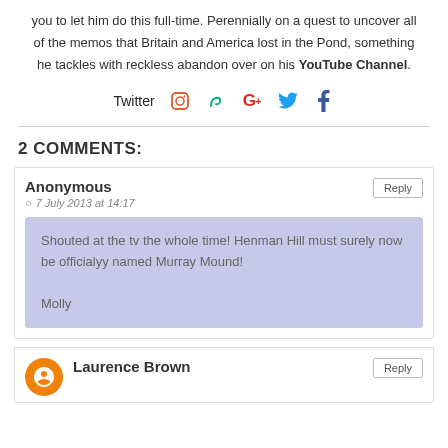you to let him do this full-time. Perennially on a quest to uncover all of the memos that Britain and America lost in the Pond, something he tackles with reckless abandon over on his YouTube Channel.
Twitter (social icons: Instagram, Vine, Google+, Twitter, Facebook)
2 COMMENTS:
Anonymous
7 July 2013 at 14:17
Shouted at the tv the whole time! Henman Hill must surely now be officialyy named Murray Mound!

Molly
Laurence Brown